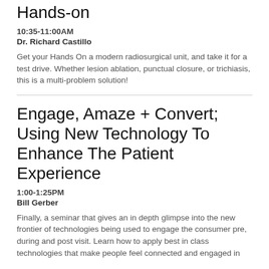Hands-on
10:35-11:00AM
Dr. Richard Castillo
Get your Hands On a modern radiosurgical unit, and take it for a test drive. Whether lesion ablation, punctual closure, or trichiasis, this is a multi-problem solution!
Engage, Amaze + Convert; Using New Technology To Enhance The Patient Experience
1:00-1:25PM
Bill Gerber
Finally, a seminar that gives an in depth glimpse into the new frontier of technologies being used to engage the consumer pre, during and post visit. Learn how to apply best in class technologies that make people feel connected and engaged in